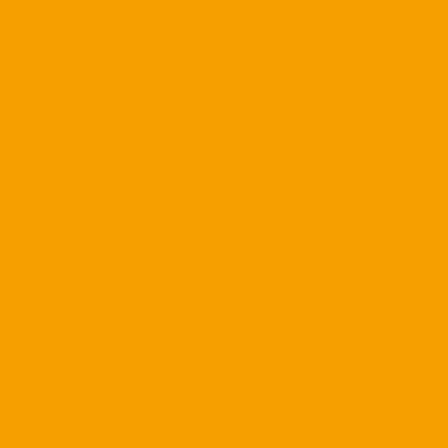[Figure (other): Orange/amber colored rectangular block occupying the left half of the page]
football 2021 recruiting list w... Under Armour All-America Ca... Four-star quarterback Miller M... as one of five schools he is r... Armour All-American Camp i... weekend. Moss was named t... currently has 20 scholarship...
Moss is the highest-ranked u... football program. The Hurrica... to four pro-style QBs in the 2... QB. Of those five signal-call... with the Hurricanes.
Moss is an elite quarterback ... freshman Tyler VanDyke and... Tate Martell who will be reds... strong that Martell, Perry or b... or even potentially before
Moss is the 60th ranked play... style QB and seventh-ranked... VanDyke was the 220th rank... nationally, the seventh-ranke... Connecticut. Right now VanD...